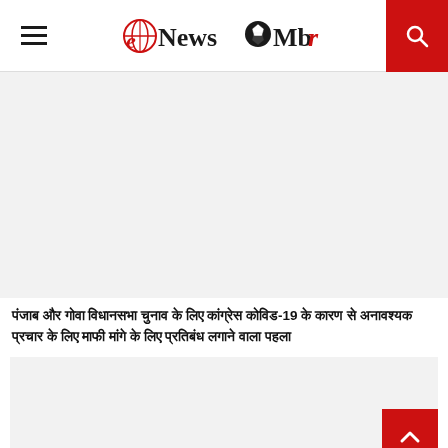eNewsMbr — website header with logo, hamburger menu, and search button
[Figure (other): Advertisement or image placeholder banner, light grey background]
पंजाब और गोवा विधानसभा चुनाव के लिए कांग्रेस कोविड-19 के कारण से अनावश्यक प्रचार के लिए माफी मांगे के लिए प्रतिबंध लगाने वाला पहला
[Figure (other): Second content image placeholder, light grey background with red scroll-to-top button]